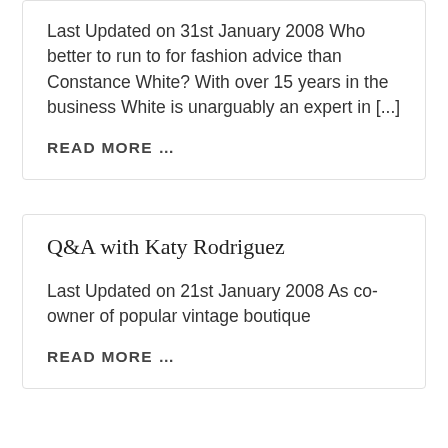Last Updated on 31st January 2008 Who better to run to for fashion advice than Constance White? With over 15 years in the business White is unarguably an expert in [...]
READ MORE …
Q&A with Katy Rodriguez
Last Updated on 21st January 2008 As co-owner of popular vintage boutique
READ MORE …